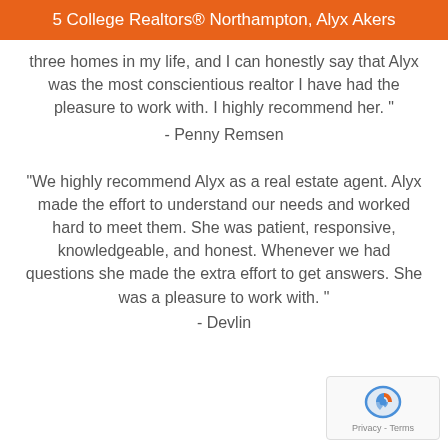5 College Realtors® Northampton, Alyx Akers
three homes in my life, and I can honestly say that Alyx was the most conscientious realtor I have had the pleasure to work with. I highly recommend her. "
- Penny Remsen
"We highly recommend Alyx as a real estate agent. Alyx made the effort to understand our needs and worked hard to meet them. She was patient, responsive, knowledgeable, and honest. Whenever we had questions she made the extra effort to get answers. She was a pleasure to work with. "
- Devlin